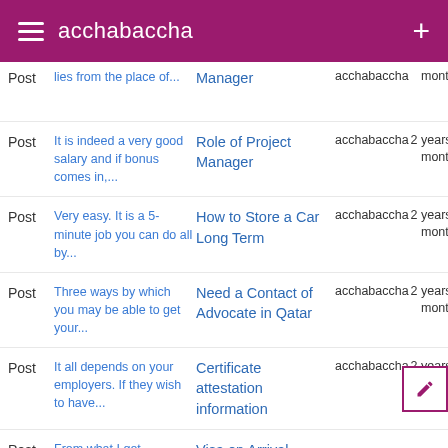acchabaccha
Post | lies from the place of... | Manager | acchabaccha | months
Post | It is indeed a very good salary and if bonus comes in,... | Role of Project Manager | acchabaccha | 2 years 9 months
Post | Very easy. It is a 5-minute job you can do all by... | How to Store a Car Long Term | acchabaccha | 2 years 9 months
Post | Three ways by which you may be able to get your... | Need a Contact of Advocate in Qatar | acchabaccha | 2 years 9 months
Post | It all depends on your employers. If they wish to have... | Certificate attestation information | acchabaccha | 2 years 9 months
Post | From what I got | Visa on Arrival